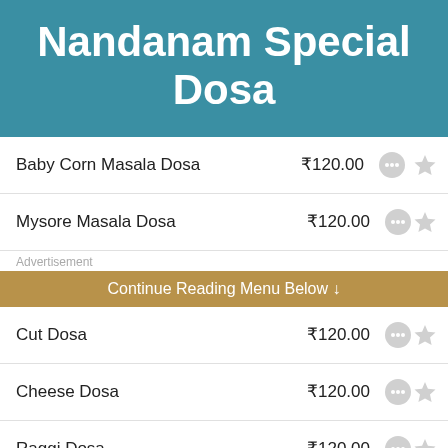Nandanam Special Dosa
Baby Corn Masala Dosa  ₹120.00
Mysore Masala Dosa  ₹120.00
Advertisement
Continue Reading Menu Below ↓
Cut Dosa  ₹120.00
Cheese Dosa  ₹120.00
Raggi Dosa  ₹120.00
Wheat Dosa  ₹120.00
Kashmir Rava Rost  ₹120.00
Tomato Roast  ₹120.00